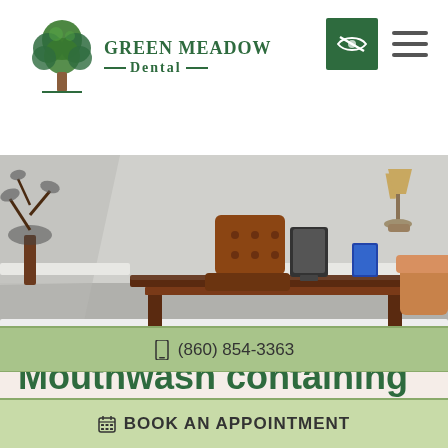Green Meadow Dental
[Figure (photo): Interior photo of a dental office reception or consultation area with a dark wood desk, brown leather chair, tablet stand, lamp, and decorative plant against a gray wall.]
Mouthwash containing alcohol – good or bad?
(860) 854-3363
BOOK AN APPOINTMENT